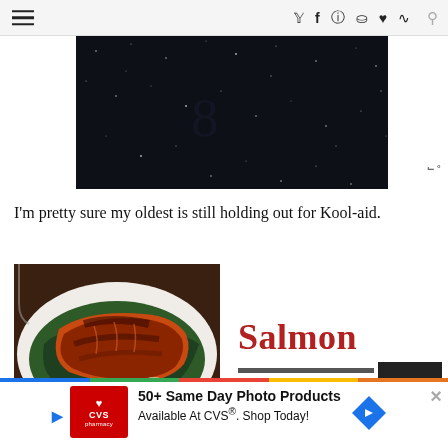≡  ✓ f ☷ p ♥ ))) 🔍
[Figure (photo): Dark advertisement banner with a starry night sky background]
I'm pretty sure my oldest is still holding out for Kool-aid.
[Figure (photo): Photo of glazed salmon on a white plate with sautéed greens]
Salmon
[Figure (photo): CVS Pharmacy advertisement: 50+ Same Day Photo Products Available At CVS®. Shop Today!]